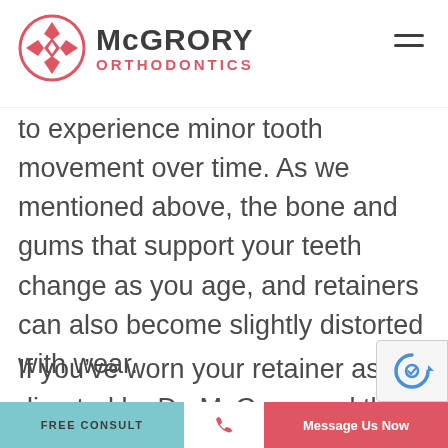[Figure (logo): McGrory Orthodontics logo with a circular pink diamond/cross emblem and the text McGRORY ORTHODONTICS]
to experience minor tooth movement over time. As we mentioned above, the bone and gums that support your teeth change as you age, and retainers can also become slightly distorted with wear.
If you’ve worn your retainer as directed by Dr. McGrory and there has only
FREE CONSULT | [phone icon] | Message Us Now